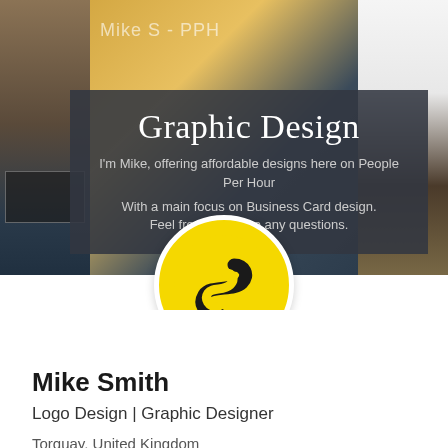[Figure (photo): Banner/cover image showing a photomontage of graphic design work including business cards, signs, and design materials. A dark semi-transparent overlay box contains the text 'Graphic Design' and description. A yellow circular profile avatar with an S-logo is overlaid at the bottom center of the banner.]
Mike Smith
Logo Design | Graphic Designer
Torquay, United Kingdom